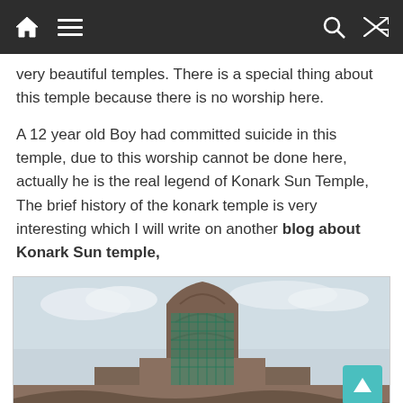[Navigation bar with home, menu, search, and shuffle icons]
very beautiful temples. There is a special thing about this temple because there is no worship here.
A 12 year old Boy had committed suicide in this temple, due to this worship cannot be done here, actually he is the real legend of Konark Sun Temple, The brief history of the konark temple is very interesting which I will write on another blog about Konark Sun temple,
[Figure (photo): Photograph of the Konark Sun Temple showing the ornate stone tower structure with scaffolding/netting visible, taken from a low angle against a cloudy sky]